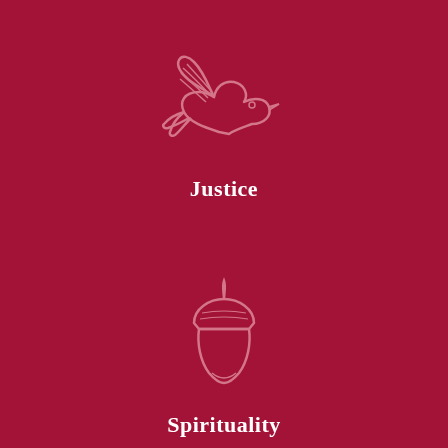[Figure (illustration): Outline illustration of a dove/bird in flight, drawn in a lighter pink/rose color on dark crimson background, representing Justice]
Justice
[Figure (illustration): Outline illustration of an acorn, drawn in a lighter pink/rose color on dark crimson background, representing Spirituality]
Spirituality